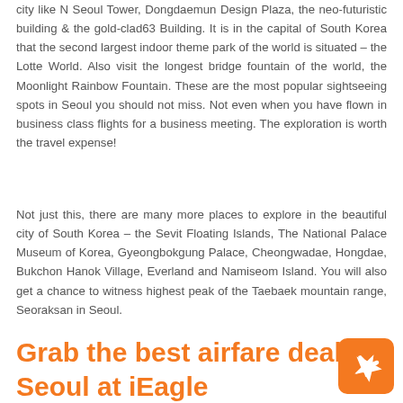city like N Seoul Tower, Dongdaemun Design Plaza, the neo-futuristic building & the gold-clad63 Building. It is in the capital of South Korea that the second largest indoor theme park of the world is situated – the Lotte World. Also visit the longest bridge fountain of the world, the Moonlight Rainbow Fountain. These are the most popular sightseeing spots in Seoul you should not miss. Not even when you have flown in business class flights for a business meeting. The exploration is worth the travel expense!
Not just this, there are many more places to explore in the beautiful city of South Korea – the Sevit Floating Islands, The National Palace Museum of Korea, Gyeongbokgung Palace, Cheongwadae, Hongdae, Bukchon Hanok Village, Everland and Namiseom Island. You will also get a chance to witness highest peak of the Taebaek mountain range, Seoraksan in Seoul.
Grab the best airfare deals Seoul at iEagle